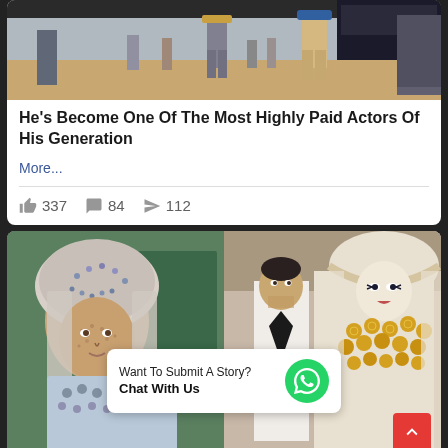[Figure (photo): Street scene showing people from waist down walking on a city street]
He's Become One Of The Most Highly Paid Actors Of His Generation
More...
👍 337  💬 84  ➤ 112
[Figure (photo): Left: Person wearing ornate traditional costume with beaded headdress and silver accessories. Right: Couple in traditional wedding attire, woman in elaborate white and gold bridal costume with coins.]
Want To Submit A Story?
Chat With Us